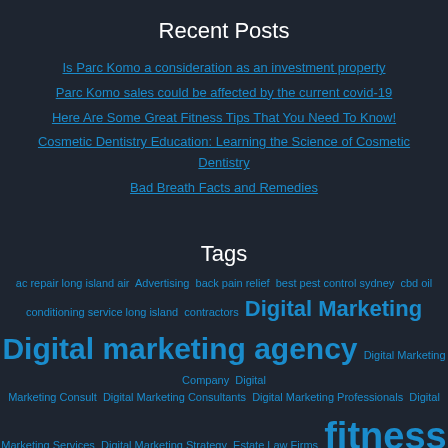Recent Posts
Is Parc Komo a consideration as an investment property
Parc Komo sales could be affected by the current covid-19
Here Are Some Great Fitness Tips That You Need To Know!
Cosmetic Dentistry Education: Learning the Science of Cosmetic Dentistry
Bad Breath Facts and Remedies
Tags
ac repair long island air  Advertising  back pain relief  best pest control sydney  cbd oil conditioning service long island  contractors  Digital Marketing  Digital marketing agency  Digital Marketing Company  Digital Marketing Consult  Digital Marketing Consultants  Digital Marketing Professionals  Digital Marketing Services  Digital Marketing Strategy  Estate Law Firms  fitness  food  health  health tips  hydraulics Brisbane  hydraulics supplies  internet marketing  Investment in Real estate  Lemonade  Limousine  MacBook  MacTech